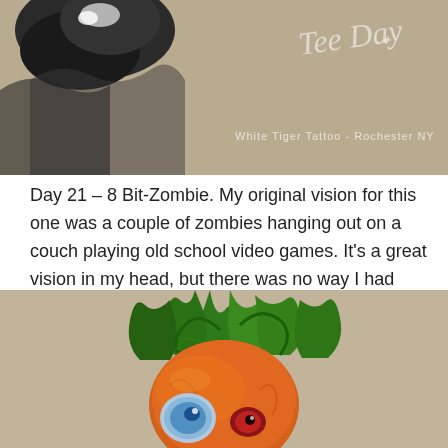[Figure (illustration): Top portion of an illustration/tattoo drawing on tan paper showing a dark creature (partial view at top), with a cursive watermark reading 'Tee Day' and 'White Tiger Tattoo - Rochester NY' in white text on the right side.]
Day 21 – 8 Bit-Zombie. My original vision for this one was a couple of zombies hanging out on a couch playing old school video games. It's a great vision in my head, but there was no way I had enough time to make something that elaborate in the time that I had.
[Figure (illustration): Bottom portion showing a colorful illustration of a zombie carrot character on tan paper — an orange carrot-shaped head with wild green leafy tops, bulging blue eye, and reddish eye on a beige/tan paper background.]